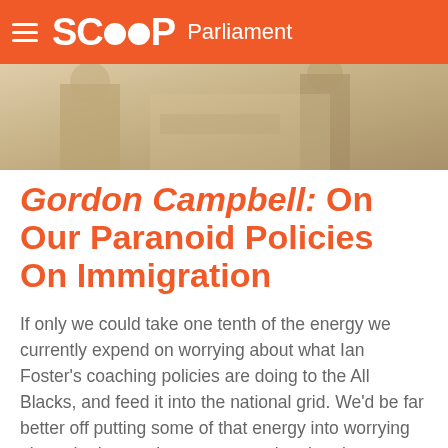SCOOP Parliament
[Figure (photo): Photograph showing people in an office or meeting room setting, partially cropped at the top of the article page.]
Gordon Campbell: On Our Paranoid Policies On Immigration
If only we could take one tenth of the energy we currently expend on worrying about what Ian Foster's coaching policies are doing to the All Blacks, and feed it into the national grid. We'd be far better off putting some of that energy into worrying about the harms that our current immigration settings are doing to the nation. Forget the World Cup. There's a far more important global competition going on to attract